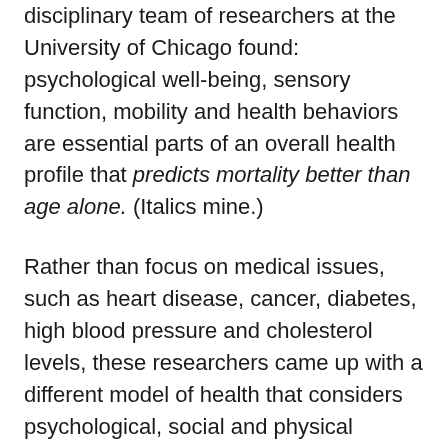...large-scale study by a multi-disciplinary team of researchers at the University of Chicago found: psychological well-being, sensory function, mobility and health behaviors are essential parts of an overall health profile that predicts mortality better than age alone. (Italics mine.)
Rather than focus on medical issues, such as heart disease, cancer, diabetes, high blood pressure and cholesterol levels, these researchers came up with a different model of health that considers psychological, social and physical factors, such as mobility. It paints a different picture of how vulnerable – or not — we might actually be.
Researchers related to the Prof...